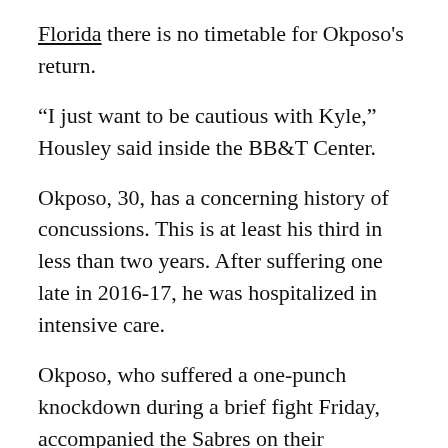Florida there is no timetable for Okposo's return.
“I just want to be cautious with Kyle,” Housley said inside the BB&T Center.
Okposo, 30, has a concerning history of concussions. This is at least his third in less than two years. After suffering one late in 2016-17, he was hospitalized in intensive care.
Okposo, who suffered a one-punch knockdown during a brief fight Friday, accompanied the Sabres on their three-game road trip before leaving for more examination.
The atmosphere inside KeyBank Center changed dramatically after Okposo fought New